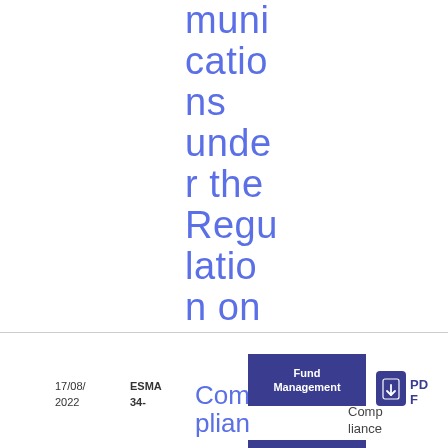muni cations under the Regulation on the cross-border distribution of funds
17/08/2022  ESMA 34-  Complian  Fund Management  Compliance  PDF